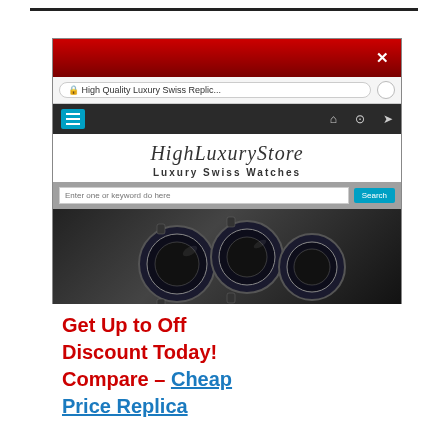[Figure (screenshot): Mobile browser screenshot of HighLuxuryStore website showing red popup header with X close button, browser address bar with 'High Quality Luxury Swiss Replic...', dark navigation bar, HighLuxuryStore logo, 'Luxury Swiss Watches' subtitle, search bar, hero image of luxury watches, 'New Products For March' banner, and a single watch product image]
Get Up to Off Discount Today! Compare – Cheap Price Replica